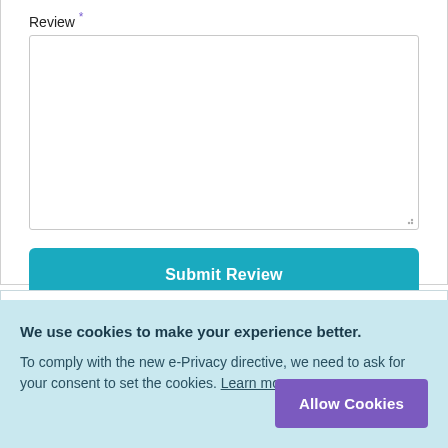Review *
[Figure (screenshot): Empty textarea input field for entering a review]
Submit Review
We use cookies to make your experience better.
To comply with the new e-Privacy directive, we need to ask for your consent to set the cookies. Learn more.
Allow Cookies